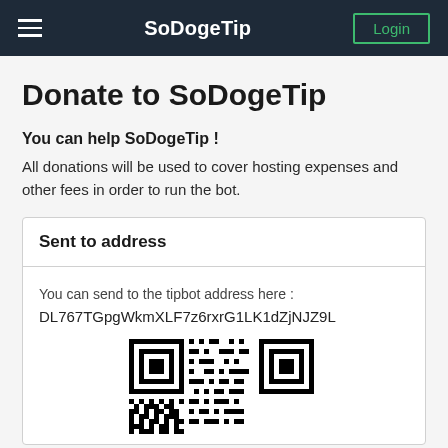SoDogeTip  Login
Donate to SoDogeTip
You can help SoDogeTip !
All donations will be used to cover hosting expenses and other fees in order to run the bot.
Sent to address
You can send to the tipbot address here : DL767TGpgWkmXLF7z6rxrG1LK1dZjNJZ9L
[Figure (other): QR code for Dogecoin tipbot address DL767TGpgWkmXLF7z6rxrG1LK1dZjNJZ9L]